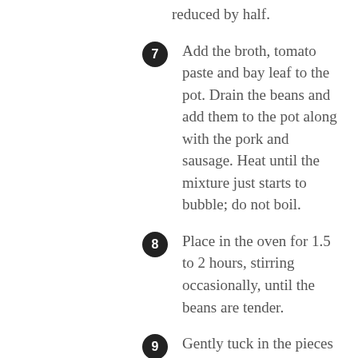reduced by half.
7 Add the broth, tomato paste and bay leaf to the pot. Drain the beans and add them to the pot along with the pork and sausage. Heat until the mixture just starts to bubble; do not boil.
8 Place in the oven for 1.5 to 2 hours, stirring occasionally, until the beans are tender.
9 Gently tuck in the pieces of chicken confit and bake for another 20 minutes, until chicken is heated through. The chicken will be falling apart, so be careful in stirring if you wish to retain its chunky shape. If you're fine with it appearing like chicken chill, stir away!